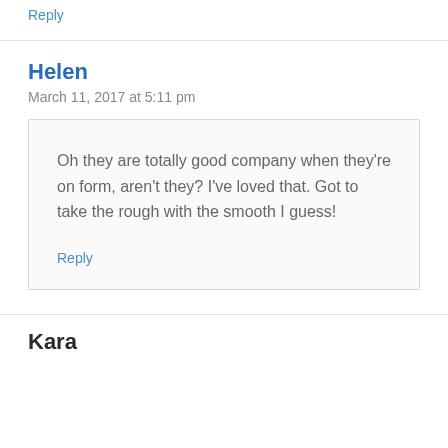Reply
Helen
March 11, 2017 at 5:11 pm
Oh they are totally good company when they're on form, aren't they? I've loved that. Got to take the rough with the smooth I guess!
Reply
Kara